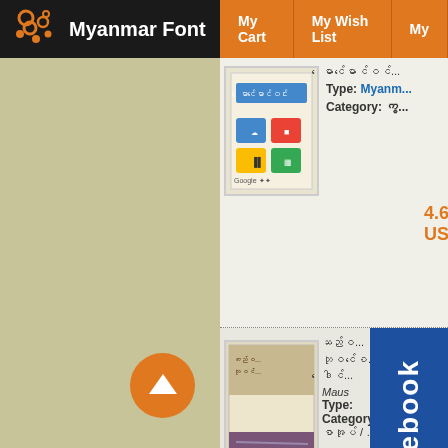Myanmar Font | My Cart | My Wish List | My...
[Figure (screenshot): Myanmar Font website header with logo and navigation buttons (My Cart, My Wish List)]
[Figure (photo): Book cover - colorful computing/Google related book in Myanmar script]
မောင်မောင်ဝင်...
Type: Myanmar...
Category: ကွ...
4.60 USD
[Figure (photo): Book cover - beige/brown toned book with Myanmar script title]
ဆည်ဝ... ဘုဝင်စေ... ဒေါင်... Maus...
Type:...
Category:... စာအုပ် / ... )
2.30 USD
[Figure (photo): Facebook logo overlay button]
[Figure (photo): Book cover - red/orange book with Buddha image, Dhammapada related]
Being the Sto... (Ap... Va... Vene... Ach...